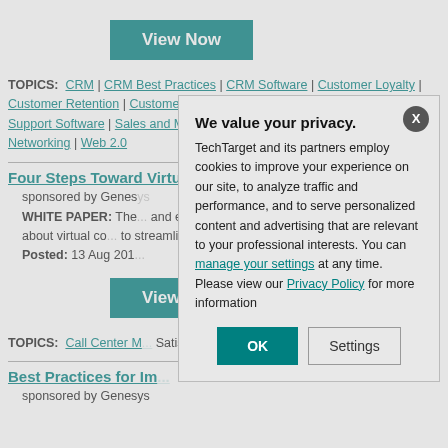[Figure (other): Teal 'View Now' button at top]
TOPICS: CRM | CRM Best Practices | CRM Software | Customer Loyalty | Customer Retention | Customer Satisfaction | Customer Service | Customer Support Software | Sales and Marketing Software | Social Computing | Social Networking | Web 2.0
Four Steps Toward Virtualising Your Contact Centre
sponsored by Genesys
WHITE PAPER: The... and efficient contact... infrastructures to su... learn about virtual co... to streamline your c...
Posted: 13 Aug 201...
[Figure (other): Teal 'View Now' button (second)]
TOPICS: Call Center M... Satisfaction | Customer ...
Best Practices for Im...
sponsored by Genesys
[Figure (other): Privacy modal dialog overlay: 'We value your privacy.' with OK and Settings buttons]